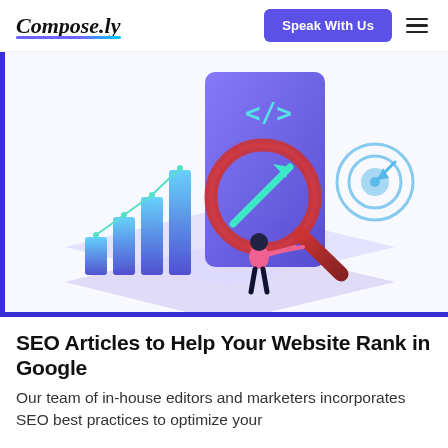Compose.ly | Speak With Us
[Figure (illustration): SEO-themed illustration showing a person holding a large magnifying glass with an upward arrow chart, bar graphs, a large phone/tablet displaying code brackets, and a bullseye target on the right, all in a blue/purple isometric style]
SEO Articles to Help Your Website Rank in Google
Our team of in-house editors and marketers incorporates SEO best practices to optimize your